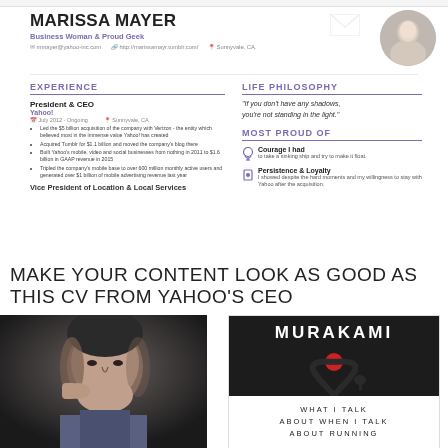[Figure (illustration): Marissa Mayer CV/resume screenshot showing name, subtitle 'Business Woman & Proud Geek', contact info, Experience section with President & CEO at Yahoo and Vice President of Location & Local Services, Life Philosophy quote, and Most Proud Of section with Courage and Persistence & Loyalty items. Circular headshot photo in top right.]
MAKE YOUR CONTENT LOOK AS GOOD AS THIS CV FROM YAHOO'S CEO
[Figure (photo): Black and white portrait photo of a middle-aged Asian man (Haruki Murakami) resting his chin on his hand, looking directly at camera]
[Figure (illustration): Book cover of 'What I Talk About When I Talk About Running' by Murakami. Dark cover with minimalist road/path design, red circle (sun), small tree silhouette. White text at bottom reads 'WHAT I TALK ABOUT WHEN I TALK ABOUT RUNNING']